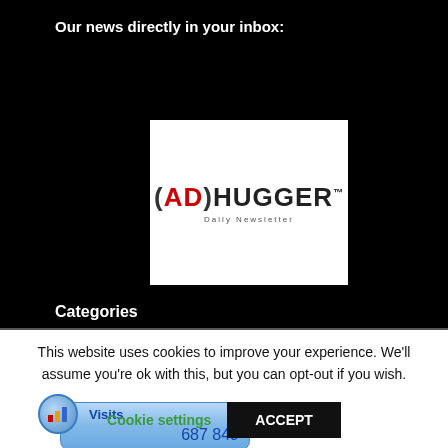Our news directly in your inbox:
[Figure (logo): (AD)HUGGER Daily Newsletter logo on white background]
[Figure (infographic): Visits counter widget showing 687 849 visits]
Categories
This website uses cookies to improve your experience. We'll assume you're ok with this, but you can opt-out if you wish.
Cookie settings
ACCEPT